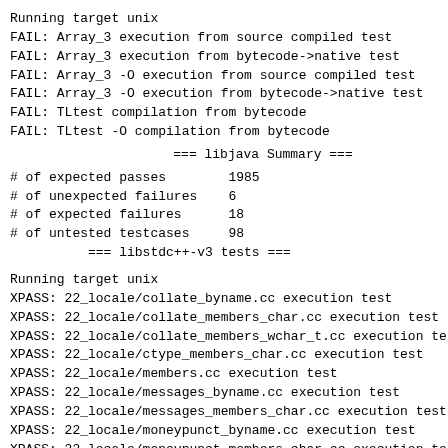Running target unix
FAIL: Array_3 execution from source compiled test
FAIL: Array_3 execution from bytecode->native test
FAIL: Array_3 -O execution from source compiled test
FAIL: Array_3 -O execution from bytecode->native test
FAIL: TLtest compilation from bytecode
FAIL: TLtest -O compilation from bytecode
=== libjava Summary ===
# of expected passes        1985
# of unexpected failures    6
# of expected failures      18
# of untested testcases     98
          === libstdc++-v3 tests ===
Running target unix
XPASS: 22_locale/collate_byname.cc execution test
XPASS: 22_locale/collate_members_char.cc execution test
XPASS: 22_locale/collate_members_wchar_t.cc execution tes
XPASS: 22_locale/ctype_members_char.cc execution test
XPASS: 22_locale/members.cc execution test
XPASS: 22_locale/messages_byname.cc execution test
XPASS: 22_locale/messages_members_char.cc execution test
XPASS: 22_locale/moneypunct_byname.cc execution test
XPASS: 22_locale/moneypunct_members_char.cc execution tes
XPASS: 22_locale/moneypunct_members_wchar_t.cc execution
XPASS: 22_locale/num_get_members_char.cc execution test
XPASS: 22_locale/num_get_members_wchar_t.cc execution tes